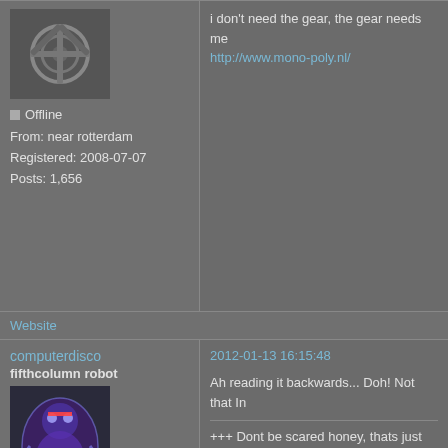i don't need the gear, the gear needs me
http://www.mono-poly.nl/
Offline
From: near rotterdam
Registered: 2008-07-07
Posts: 1,656
Website
computerdisco
fifthcolumn robot
2012-01-13 16:15:48
Ah reading it backwards... Doh! Not that In
+++ Dont be scared honey, thats just the re
Offline
From: Ghetto Studio, London
Registered: 2008-07-09
Posts: 747
rude66
robot des duivels
2012-01-22 11:44:31
Teac 144 portastudio
electric sound s-1024 19" delay

all for 30 euro..
Offline
Registered: 2008-07-07
Posts: 1,844